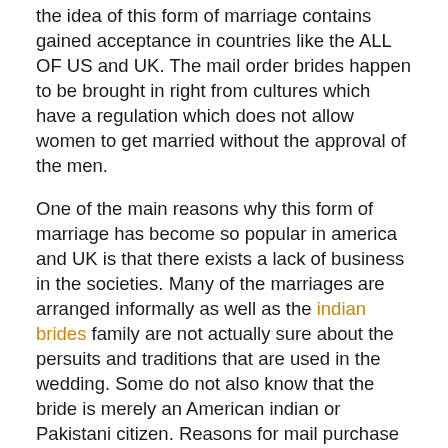the idea of this form of marriage contains gained acceptance in countries like the ALL OF US and UK. The mail order brides happen to be brought in right from cultures which have a regulation which does not allow women to get married without the approval of the men.
One of the main reasons why this form of marriage has become so popular in america and UK is that there exists a lack of business in the societies. Many of the marriages are arranged informally as well as the indian brides family are not actually sure about the persuits and traditions that are used in the wedding. Some do not also know that the bride is merely an American indian or Pakistani citizen. Reasons for mail purchase brides ALL OF US can be found right from various resources. There are businesses that help the people discover their life partners. A few of the organizations likewise help the women of all ages look for all their partners.
Sources of mail buy brides ALL OF US are also offered by some websites on the internet. These websites have a database on the brides who are looking for partners. All you have to do is sign-up with the website and upload the